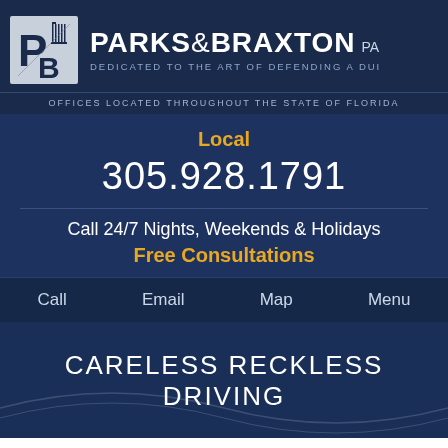[Figure (logo): Parks & Braxton PA logo with P&B monogram and column icon]
PARKS & BRAXTON PA
DEDICATED TO THE ART OF DEFENDING A DUI
OFFICES LOCATED THROUGHOUT THE STATE OF FLORIDA
Local
305.928.1791
Call 24/7 Nights, Weekends & Holidays
Free Consultations
Call    Email    Map    Menu
CARELESS RECKLESS DRIVING
MIAMI TRAFFIC TICKET LAWYER
Defense for Careless and Reckless